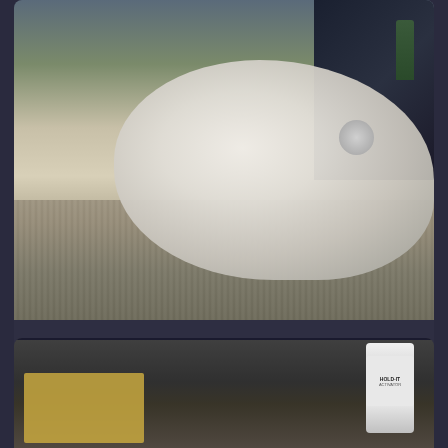[Figure (photo): Photo of a white clay or plaster sculpted object (appears to be a mask or animal form) sitting on a newspaper-covered table, with various containers and dark background items visible]
David DeMattia  Saint Croix Falls, WI.  ★★★  October 2016
Eye holes ground out and eyes ready for test fit and measurement.
[Figure (photo): Partial photo showing a cardboard box and a white container labeled 'HOLD-IT ACTIVATOR' or similar product, on a dark surface]